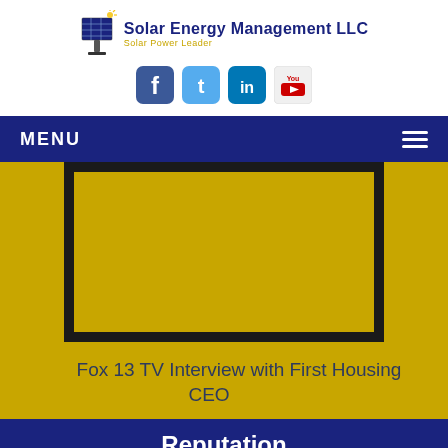[Figure (logo): Solar Energy Management LLC logo with solar panel graphic and text 'Solar Power Leader']
[Figure (infographic): Social media icons row: Facebook, Twitter, LinkedIn, YouTube]
MENU
[Figure (screenshot): Video thumbnail/embed area with golden background and black border frame]
Fox 13 TV Interview with First Housing CEO
Reputation
only best-in-class solar